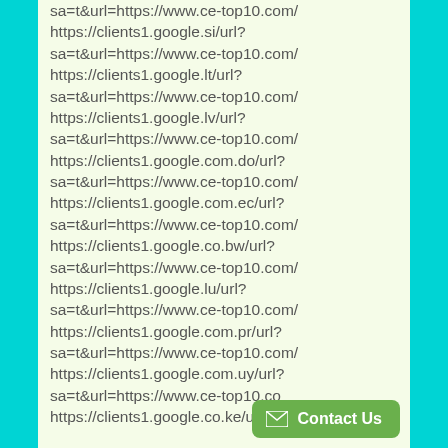sa=t&url=https://www.ce-top10.com/
https://clients1.google.si/url?
sa=t&url=https://www.ce-top10.com/
https://clients1.google.lt/url?
sa=t&url=https://www.ce-top10.com/
https://clients1.google.lv/url?
sa=t&url=https://www.ce-top10.com/
https://clients1.google.com.do/url?
sa=t&url=https://www.ce-top10.com/
https://clients1.google.com.ec/url?
sa=t&url=https://www.ce-top10.com/
https://clients1.google.co.bw/url?
sa=t&url=https://www.ce-top10.com/
https://clients1.google.lu/url?
sa=t&url=https://www.ce-top10.com/
https://clients1.google.com.pr/url?
sa=t&url=https://www.ce-top10.com/
https://clients1.google.com.uy/url?
sa=t&url=https://www.ce-top10.co
https://clients1.google.co.ke/url?